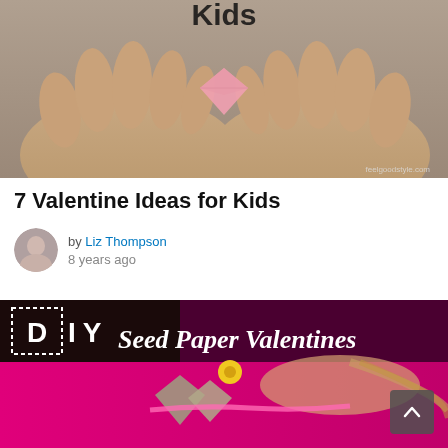[Figure (photo): Close-up of two hands cupping a pink paper origami heart, with text 'Kids' visible at top. Watermark: feelgoodstyle.com]
7 Valentine Ideas for Kids
by Liz Thompson
8 years ago
[Figure (photo): DIY Seed Paper Valentines banner image with dark background and cursive/bold white text 'DIY Seed Paper Valentines', below showing a child holding rustic seed paper hearts with yellow flower and pink ribbon, on pink background.]